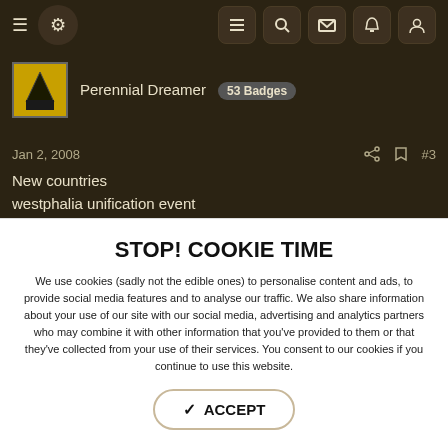Navigation bar with hamburger menu, logo, list icon, search, mail, bell, profile icons
Perennial Dreamer  53 Badges
Jan 2, 2008  #3
New countries
westphalia unification event
libirumveto
NEW IDEAS
STOP! COOKIE TIME
We use cookies (sadly not the edible ones) to personalise content and ads, to provide social media features and to analyse our traffic. We also share information about your use of our site with our social media, advertising and analytics partners who may combine it with other information that you've provided to them or that they've collected from your use of their services. You consent to our cookies if you continue to use this website.
✓ ACCEPT